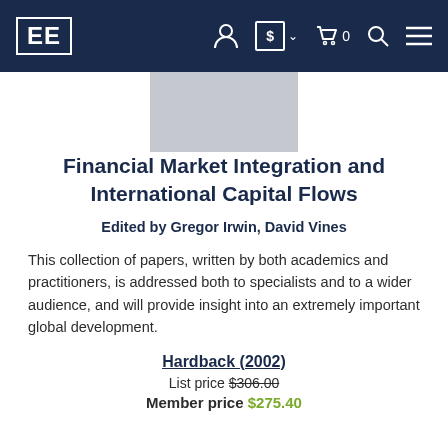EE [logo] | navigation icons
[Figure (other): Book cover placeholder (gray rectangle)]
Financial Market Integration and International Capital Flows
Edited by Gregor Irwin, David Vines
This collection of papers, written by both academics and practitioners, is addressed both to specialists and to a wider audience, and will provide insight into an extremely important global development.
Hardback (2002)
List price $306.00
Member price $275.40